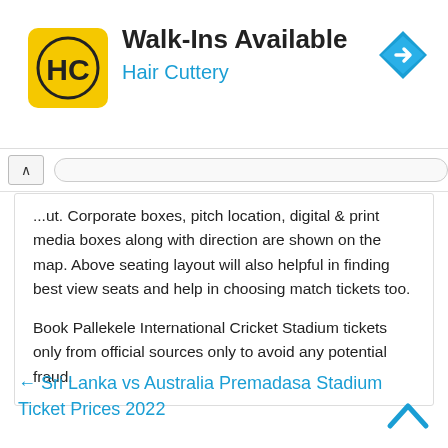[Figure (infographic): Hair Cuttery advertisement banner with logo, 'Walk-Ins Available' headline, brand name, and navigation icon]
...out. Corporate boxes, pitch location, digital & print media boxes along with direction are shown on the map. Above seating layout will also helpful in finding best view seats and help in choosing match tickets too.

Book Pallekele International Cricket Stadium tickets only from official sources only to avoid any potential fraud.
← Sri Lanka vs Australia Premadasa Stadium Ticket Prices 2022